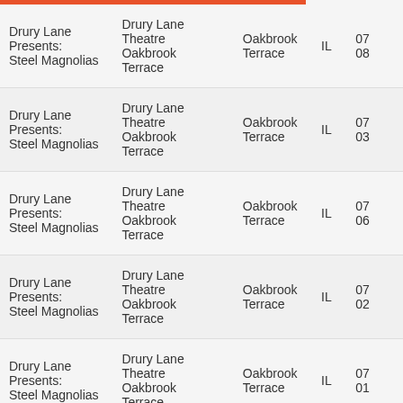| Event | Venue | City | State | Date |
| --- | --- | --- | --- | --- |
| Drury Lane Presents: Steel Magnolias | Drury Lane Theatre Oakbrook Terrace | Oakbrook Terrace | IL | 07
08 |
| Drury Lane Presents: Steel Magnolias | Drury Lane Theatre Oakbrook Terrace | Oakbrook Terrace | IL | 07
03 |
| Drury Lane Presents: Steel Magnolias | Drury Lane Theatre Oakbrook Terrace | Oakbrook Terrace | IL | 07
06 |
| Drury Lane Presents: Steel Magnolias | Drury Lane Theatre Oakbrook Terrace | Oakbrook Terrace | IL | 07
02 |
| Drury Lane Presents: Steel Magnolias | Drury Lane Theatre Oakbrook Terrace | Oakbrook Terrace | IL | 07
01 |